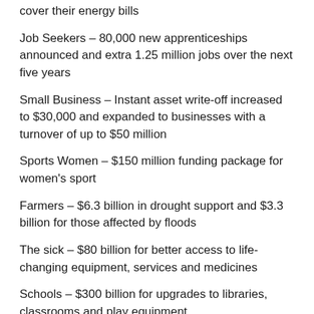cover their energy bills
Job Seekers – 80,000 new apprenticeships announced and extra 1.25 million jobs over the next five years
Small Business – Instant asset write-off increased to $30,000 and expanded to businesses with a turnover of up to $50 million
Sports Women – $150 million funding package for women's sport
Farmers – $6.3 billion in drought support and $3.3 billion for those affected by floods
The sick – $80 billion for better access to life-changing equipment, services and medicines
Schools – $300 billion for upgrades to libraries, classrooms and play equipment
LOSERS